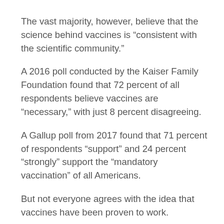The vast majority, however, believe that the science behind vaccines is “consistent with the scientific community.”
A 2016 poll conducted by the Kaiser Family Foundation found that 72 percent of all respondents believe vaccines are “necessary,” with just 8 percent disagreeing.
A Gallup poll from 2017 found that 71 percent of respondents “support” and 24 percent “strongly” support the “mandatory vaccination” of all Americans.
But not everyone agrees with the idea that vaccines have been proven to work.
In a 2014 survey by the Pew Research Center, 48 percent of those surveyed said they believe that their government is not doing enough to prevent certain diseases.